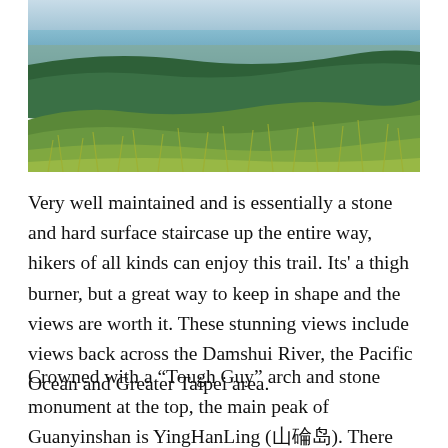[Figure (photo): Aerial/elevated view from a hillside with lush green vegetation and tall grasses in the foreground, looking out over a city, coastline, and the Pacific Ocean or bay in the background under a pale sky.]
Very well maintained and is essentially a stone and hard surface staircase up the entire way, hikers of all kinds can enjoy this trail. Its' a thigh burner, but a great way to keep in shape and the views are worth it. These stunning views include views back across the Damshui River, the Pacific Ocean and Greater Taipei area.
Crowned with a “Tough Guy” arch and stone monument at the top, the main peak of Guanyinshan is YingHanLing (山磒島). There are lots of spots to grab a drink...